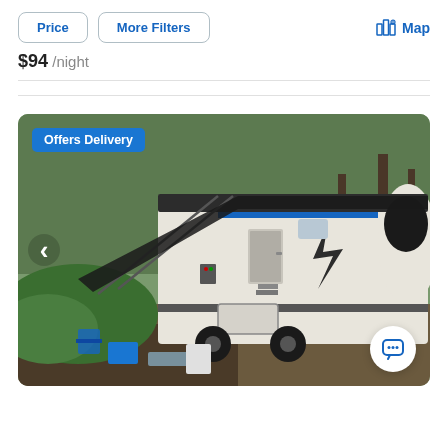Price
More Filters
Map
$94 /night
[Figure (photo): A travel trailer RV (Sonic brand) parked in a forested campsite with awning extended, blue camp chairs and camping gear visible. Badge reads 'Offers Delivery'. Navigation arrow on left. Chat button bottom right.]